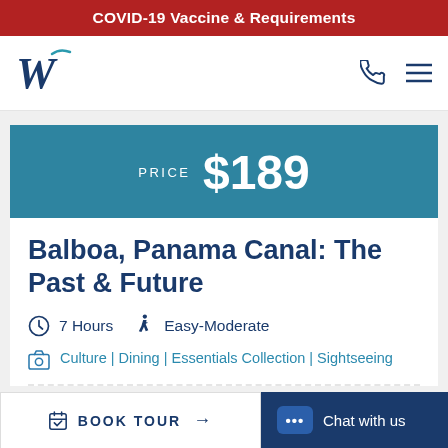COVID-19 Vaccine & Requirements
[Figure (logo): W logo for Windstar Cruises, stylized italic W with a curved element]
PRICE $189
Balboa, Panama Canal: The Past & Future
7 Hours
Easy-Moderate
Culture | Dining | Essentials Collection | Sightseeing
BOOK TOUR
Chat with us